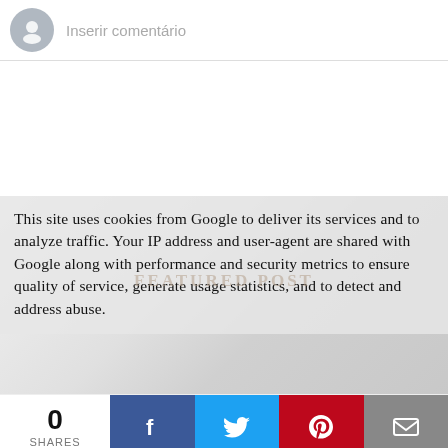Inserir comentário
This site uses cookies from Google to deliver its services and to analyze traffic. Your IP address and user-agent are shared with Google along with performance and security metrics to ensure quality of service, generate usage statistics, and to detect and address abuse.
[Figure (screenshot): FEATURED POST label watermark over a gray background image]
0 SHARES
[Figure (infographic): Social share bar with Facebook, Twitter, Pinterest, and email buttons]